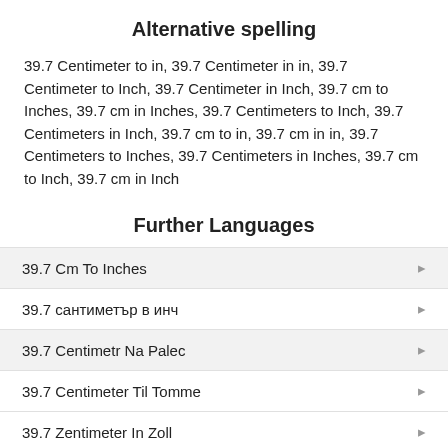Alternative spelling
39.7 Centimeter to in, 39.7 Centimeter in in, 39.7 Centimeter to Inch, 39.7 Centimeter in Inch, 39.7 cm to Inches, 39.7 cm in Inches, 39.7 Centimeters to Inch, 39.7 Centimeters in Inch, 39.7 cm to in, 39.7 cm in in, 39.7 Centimeters to Inches, 39.7 Centimeters in Inches, 39.7 cm to Inch, 39.7 cm in Inch
Further Languages
39.7 Cm To Inches
39.7 сантиметър в инч
39.7 Centimetr Na Palec
39.7 Centimeter Til Tomme
39.7 Zentimeter In Zoll
39.7 εκατοστόμετρο σε ίντσα